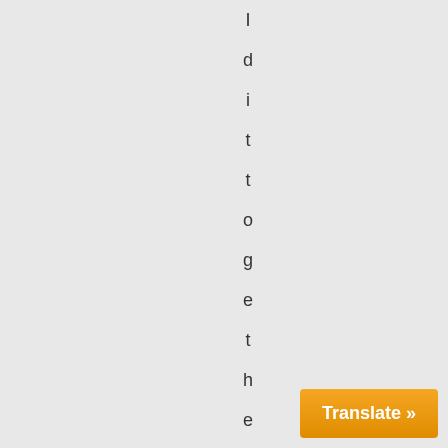I did it together over the week
[Figure (screenshot): Orange 'Translate »' button in bottom right corner]